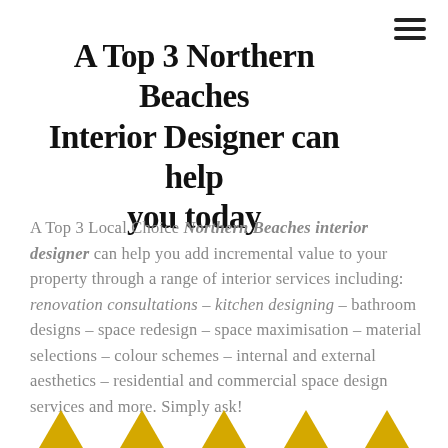A Top 3 Northern Beaches Interior Designer can help you today
A Top 3 Local Choice Northern Beaches interior designer can help you add incremental value to your property through a range of interior services including: renovation consultations – kitchen designing – bathroom designs – space redesign – space maximisation – material selections – colour schemes – internal and external aesthetics – residential and commercial space design services and more. Simply ask!
[Figure (illustration): Row of five gold/yellow upward-pointing triangles (star/award icons) at the bottom of the page]